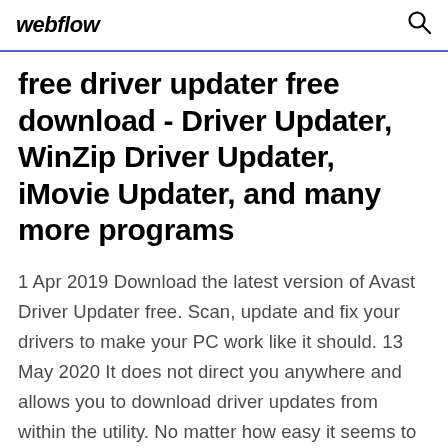webflow
free driver updater free download - Driver Updater, WinZip Driver Updater, iMovie Updater, and many more programs
1 Apr 2019 Download the latest version of Avast Driver Updater free. Scan, update and fix your drivers to make your PC work like it should. 13 May 2020 It does not direct you anywhere and allows you to download driver updates from within the utility. No matter how easy it seems to update drivers  Driver Reviver helps you easily update Windows drivers, unlock new functionality, and fix hardware issues. Trusted